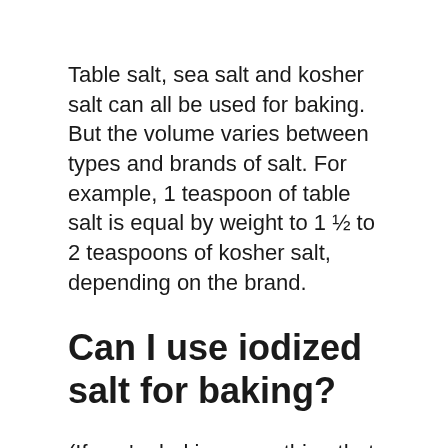Table salt, sea salt and kosher salt can all be used for baking. But the volume varies between types and brands of salt. For example, 1 teaspoon of table salt is equal by weight to 1 ½ to 2 teaspoons of kosher salt, depending on the brand.
Can I use iodized salt for baking?
(If you're baking something that calls for salt and the recipe doesn't specify, iodized salt will be fine—you're likely using a small amount, and most people aren't going to be able to detect the slight taste difference when it's baked into a sweet and flavorful